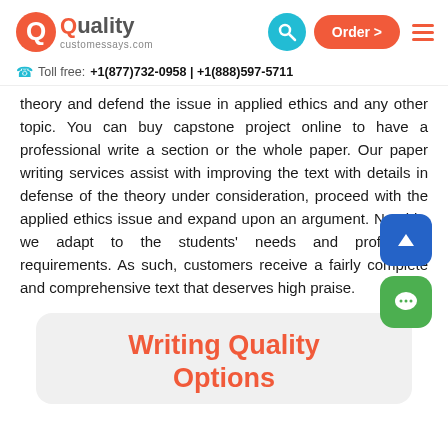Quality customessays.com | Order > | (nav icons)
Toll free: +1(877)732-0958 | +1(888)597-5711
theory and defend the issue in applied ethics and any other topic. You can buy capstone project online to have a professional write a section or the whole paper. Our paper writing services assist with improving the text with details in defense of the theory under consideration, proceed with the applied ethics issue and expand upon an argument. Notably, we adapt to the students' needs and professors' requirements. As such, customers receive a fairly complete and comprehensive text that deserves high praise.
Writing Quality Options